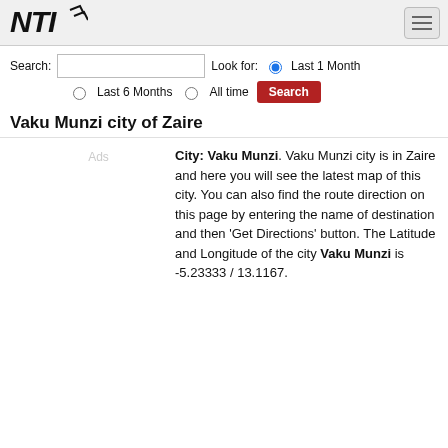NTI logo and navigation hamburger menu
Search: [input] Look for: (•) Last 1 Month  ( ) Last 6 Months  ( ) All time  [Search]
Vaku Munzi city of Zaire
Ads
City: Vaku Munzi. Vaku Munzi city is in Zaire and here you will see the latest map of this city. You can also find the route direction on this page by entering the name of destination and then 'Get Directions' button. The Latitude and Longitude of the city Vaku Munzi is -5.23333 / 13.1167.